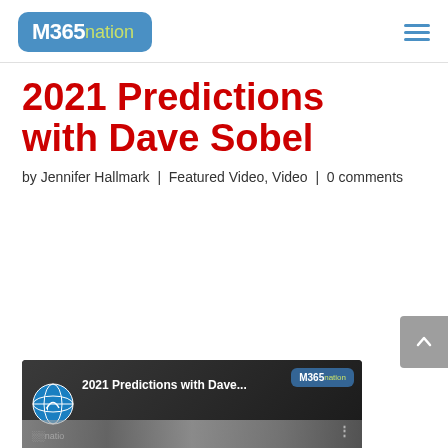M365nation
2021 Predictions with Dave Sobel
by Jennifer Hallmark | Featured Video, Video | 0 comments
[Figure (screenshot): YouTube video thumbnail showing '2021 Predictions with Dave...' with M365nation logo badge, globe icon, and a video frame with a person visible at the bottom.]